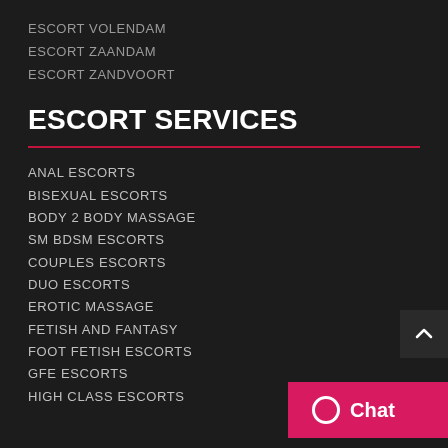ESCORT VOLENDAM
ESCORT ZAANDAM
ESCORT ZANDVOORT
ESCORT SERVICES
ANAL ESCORTS
BISEXUAL ESCORTS
BODY 2 BODY MASSAGE
SM BDSM ESCORTS
COUPLES ESCORTS
DUO ESCORTS
EROTIC MASSAGE
FETISH AND FANTASY
FOOT FETISH ESCORTS
GFE ESCORTS
HIGH CLASS ESCORTS